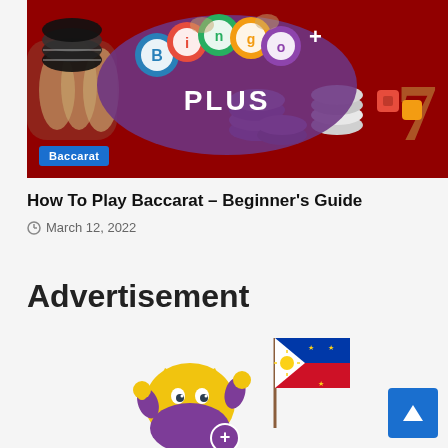[Figure (photo): Casino baccarat table with purple and white casino chips, hands holding chips, and a Bingo Plus logo overlay with colorful bingo balls. A blue 'Baccarat' badge is in the lower left corner.]
How To Play Baccarat – Beginner's Guide
March 12, 2022
Advertisement
[Figure (illustration): Cartoon mascot character (yellow star shape with eyes) holding a Philippine flag with thumbs up, wearing a purple outfit, with a '+' symbol. Philippine flag visible with blue, red, white, and yellow sun design.]